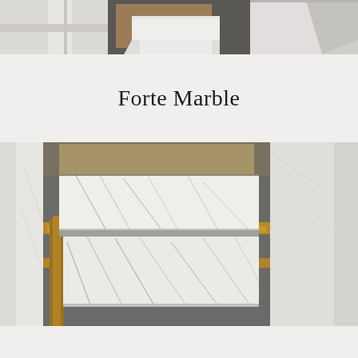[Figure (photo): Three photos in a row at the top of the page showing white architectural/interior elements — left shows white wall/trim, center shows a white shelf or box structure with dark background, right shows a white angular form.]
Forte Marble
[Figure (photo): Three photos in a row showing marble slabs — left shows a partial white marble or wall, center shows two white Carrara marble slabs with grey veining resting on a wooden crate/pallet outdoors, right shows a partial white marble or stone piece.]